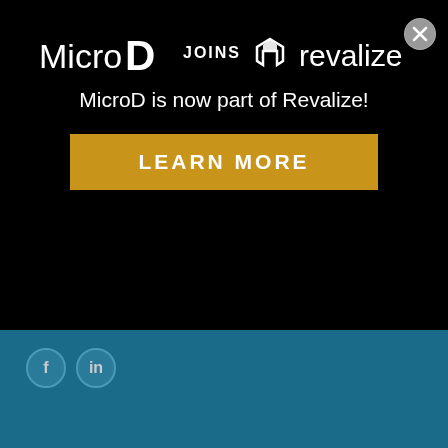[Figure (logo): MicroD JOINS revalize banner with black background, showing logos and 'MicroD is now part of Revalize!' subtitle, and a gold 'LEARN MORE' button]
[Figure (logo): Facebook and LinkedIn social media icon circles on teal background]
SOLUTIONS
Home Furnishings
Website & eCommerce
Digital Marketing
Product Catalog Data
Product Visualization
Electronic Data Interchange